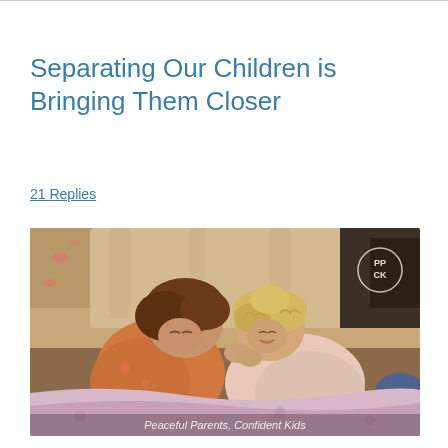Separating Our Children is Bringing Them Closer
21 Replies
[Figure (photo): Two young children lying in bed, touching foreheads and laughing together, covered with a pink blanket. The younger child has curly blonde hair. A watermark reads 'Peaceful Parents, Confident Kids' and a circular logo 'PP CK' is visible in the upper right corner.]